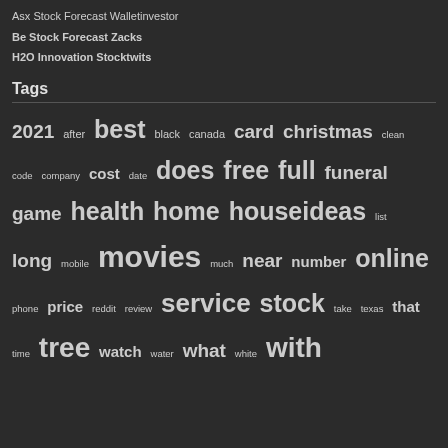Asx Stock Forecast Walletinvestor
Be Stock Forecast Zacks
H2O Innovation Stocktwits
Tags
2021 after best black canada card christmas clean code company cost date does free full funeral game health home house ideas list long mobile movies much near number online phone price reddit review service stock take texas that time tree watch water what white with